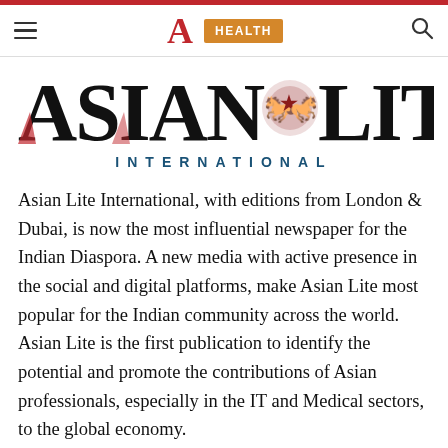HEALTH
[Figure (logo): Asian Lite International newspaper logo with horses and crest emblem, INTERNATIONAL subtitle in blue]
Asian Lite International, with editions from London & Dubai, is now the most influential newspaper for the Indian Diaspora. A new media with active presence in the social and digital platforms, make Asian Lite most popular for the Indian community across the world. Asian Lite is the first publication to identify the potential and promote the contributions of Asian professionals, especially in the IT and Medical sectors, to the global economy.